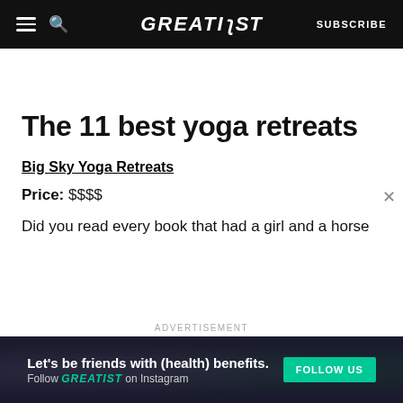GREATIST | SUBSCRIBE
The 11 best yoga retreats
Big Sky Yoga Retreats
Price: $$$$
Did you read every book that had a girl and a horse
[Figure (screenshot): Advertisement banner: Let's be friends with (health) benefits. Follow GREATIST on Instagram. [FOLLOW US button]]